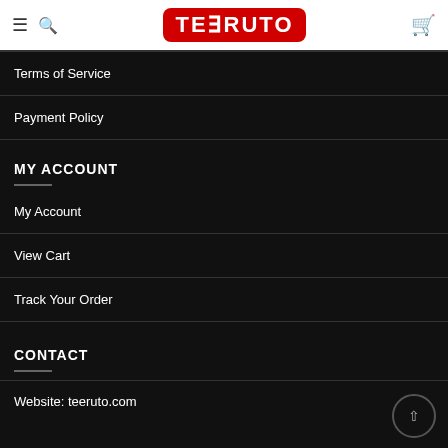TEERUTO
Terms of Service
Payment Policy
MY ACCOUNT
My Account
View Cart
Track Your Order
CONTACT
Website: teeruto.com